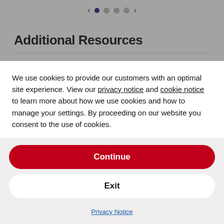[Figure (screenshot): Navigation dots with left and right arrows: 4 dots, first one active (dark blue), rest inactive (gray)]
Additional Resources
| ATTRIBUTE | DESCRIPTION |
| --- | --- |
| Standard | 188 ⓘ |
We use cookies to provide our customers with an optimal site experience. View our privacy notice and cookie notice to learn more about how we use cookies and how to manage your settings. By proceeding on our website you consent to the use of cookies.
Continue
Exit
Privacy Notice
Enter your email   Subscribe